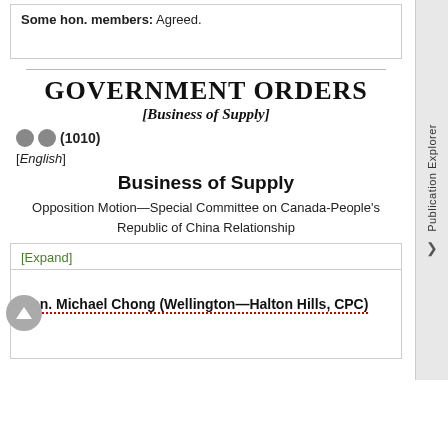Some hon. members: Agreed.
GOVERNMENT ORDERS
[Business of Supply]
(1010)
[English]
Business of Supply
Opposition Motion—Special Committee on Canada-People's Republic of China Relationship
[Expand]
Hon. Michael Chong (Wellington—Halton Hills, CPC)